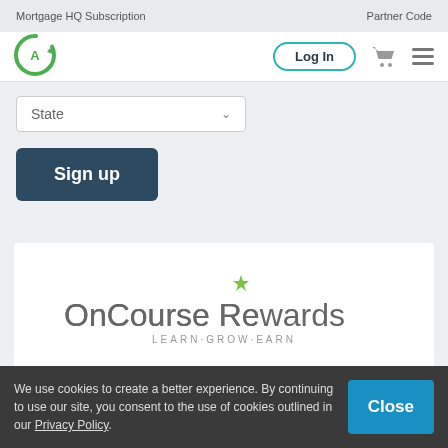Mortgage HQ Subscription    Partner Code
[Figure (logo): OnCourse Learning logo - green circular arrow with letter A]
Log In
State
Sign up
[Figure (logo): OnCourse Rewards logo with text LEARN · GROW · EARN]
We use cookies to create a better experience. By continuing to use our site, you consent to the use of cookies outlined in our Privacy Policy.
Close